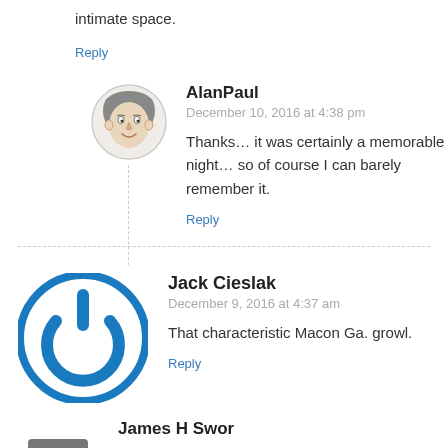intimate space.
Reply
AlanPaul
December 10, 2016 at 4:38 pm
Thanks… it was certainly a memorable night… so of course I can barely remember it.
Reply
Jack Cieslak
December 9, 2016 at 4:37 am
That characteristic Macon Ga. growl.
Reply
James H Swor